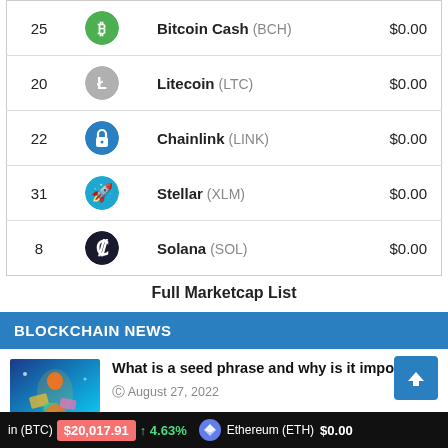| Rank | Icon | Name | Price |
| --- | --- | --- | --- |
| 25 | BCH | Bitcoin Cash (BCH) | $0.00 |
| 20 | LTC | Litecoin (LTC) | $0.00 |
| 22 | LINK | Chainlink (LINK) | $0.00 |
| 31 | XLM | Stellar (XLM) | $0.00 |
| 8 | SOL | Solana (SOL) | $0.00 |
Full Marketcap List
BLOCKCHAIN NEWS
[Figure (photo): Colorful illustration for seed phrase article]
What is a seed phrase and why is it important?
August 27, 2022
[Figure (photo): Colorful illustration for cryptocurrencies article]
Cryptocurrencies copying Bitcoin don't
in (BTC) $20,017.91 ↑ 4.63% Ethereum (ETH) $0.00